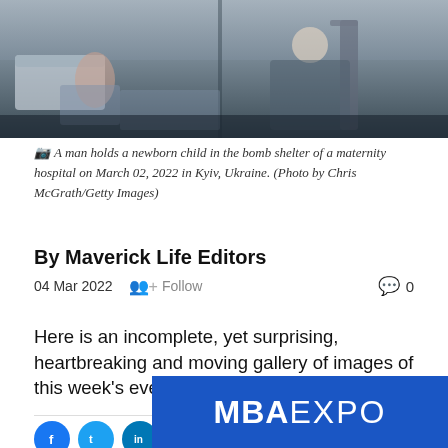[Figure (photo): A man holds a newborn child in the bomb shelter of a maternity hospital, Kyiv Ukraine, March 2022.]
A man holds a newborn child in the bomb shelter of a maternity hospital on March 02, 2022 in Kyiv, Ukraine. (Photo by Chris McGrath/Getty Images)
By Maverick Life Editors
04 Mar 2022   Follow   0
Here is an incomplete, yet surprising, heartbreaking and moving gallery of images of this week's events around the world.
[Figure (logo): MBA EXPO logo banner with blue background]